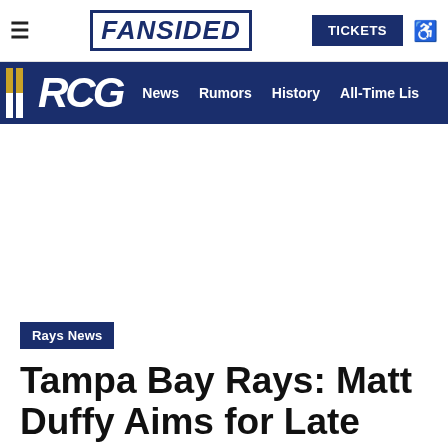FANSIDED | TICKETS
RCG News Rumors History All-Time Lis
Rays News
Tampa Bay Rays: Matt Duffy Aims for Late May Return